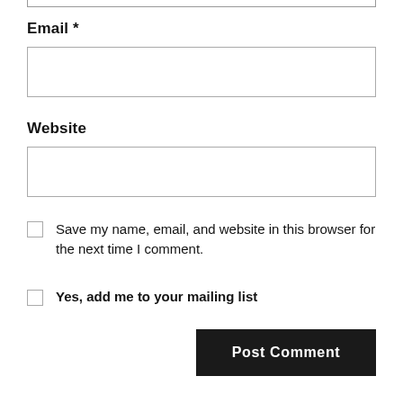Email *
Website
Save my name, email, and website in this browser for the next time I comment.
Yes, add me to your mailing list
Post Comment